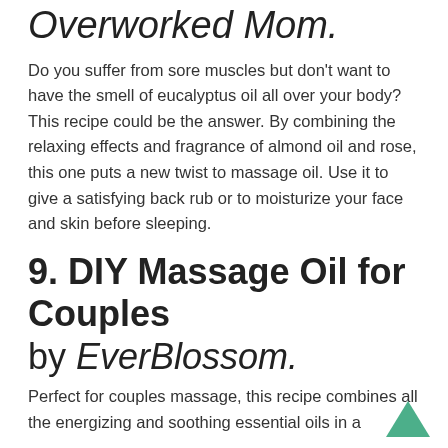Overworked Mom.
Do you suffer from sore muscles but don't want to have the smell of eucalyptus oil all over your body? This recipe could be the answer. By combining the relaxing effects and fragrance of almond oil and rose, this one puts a new twist to massage oil. Use it to give a satisfying back rub or to moisturize your face and skin before sleeping.
9. DIY Massage Oil for Couples by EverBlossom.
Perfect for couples massage, this recipe combines all the energizing and soothing essential oils in a